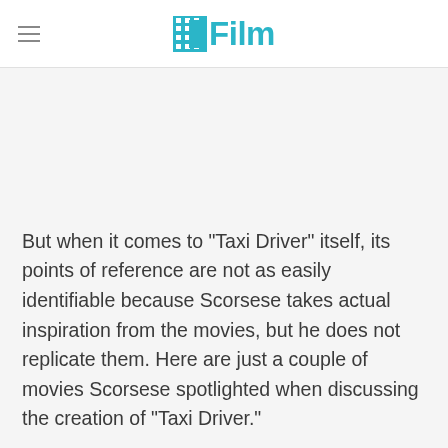/Film
But when it comes to "Taxi Driver" itself, its points of reference are not as easily identifiable because Scorsese takes actual inspiration from the movies, but he does not replicate them. Here are just a couple of movies Scorsese spotlighted when discussing the creation of "Taxi Driver."